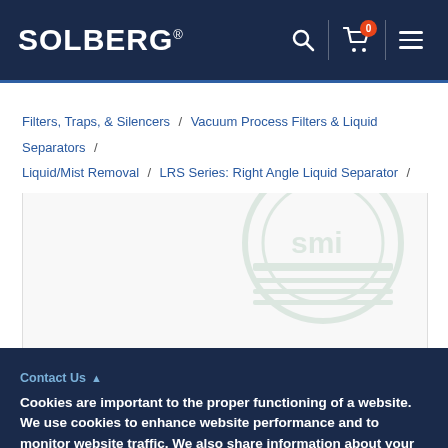SOLBERG®
Filters, Traps, & Silencers / Vacuum Process Filters & Liquid Separators / Liquid/Mist Removal / LRS Series: Right Angle Liquid Separator /
[Figure (screenshot): Product image area with SMI watermark logo in background]
Cookies are important to the proper functioning of a website. We use cookies to enhance website performance and to monitor website traffic. We also share information about your use of our site with our advertising and analytic partners for marketing purposes. Visit our Cookie Policy to learn more about our use of Cookies.
Accept
Deny